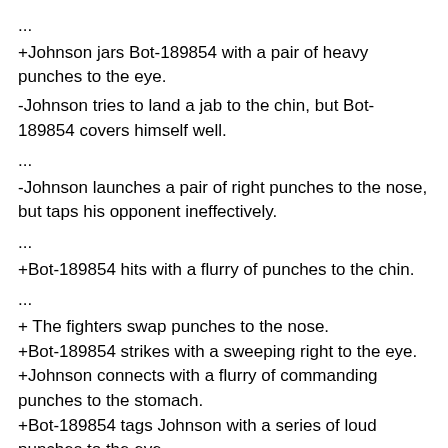...
+Johnson jars Bot-189854 with a pair of heavy punches to the eye.
-Johnson tries to land a jab to the chin, but Bot-189854 covers himself well.
...
-Johnson launches a pair of right punches to the nose, but taps his opponent ineffectively.
...
+Bot-189854 hits with a flurry of punches to the chin.
...
+ The fighters swap punches to the nose.
+Bot-189854 strikes with a sweeping right to the eye.
+Johnson connects with a flurry of commanding punches to the stomach.
+Bot-189854 tags Johnson with a series of loud punches to the eye.
...
+Johnson tattoos Bot-189854 with a hard jab to the mouth.